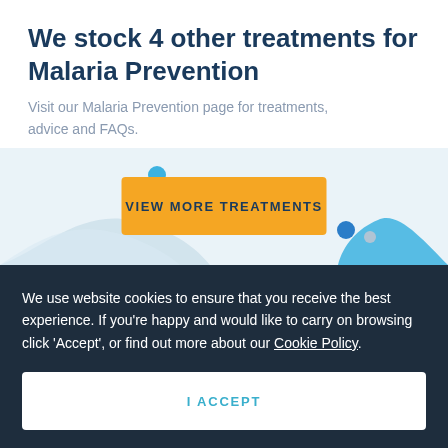We stock 4 other treatments for Malaria Prevention
Visit our Malaria Prevention page for treatments, advice and FAQs.
[Figure (other): Orange button with text VIEW MORE TREATMENTS on a light blue decorative banner with abstract blob shapes and colored dots]
We use website cookies to ensure that you receive the best experience. If you're happy and would like to carry on browsing click 'Accept', or find out more about our Cookie Policy.
I ACCEPT